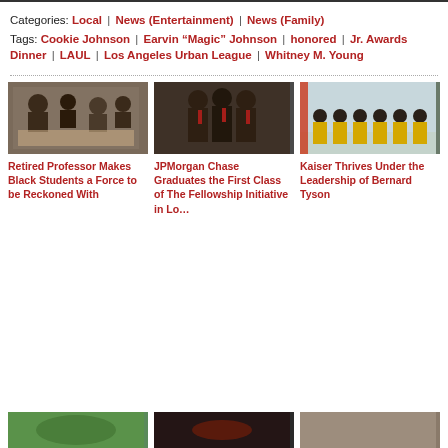Categories: Local | News (Entertainment) | News (Family)
Tags: Cookie Johnson | Earvin “Magic” Johnson | honored | Jr. Awards Dinner | LAUL | Los Angeles Urban League | Whitney M. Young
[Figure (photo): Group of people seated at tables, children and adults in a community/educational event setting]
[Figure (photo): Three young men in suits with ties posing together at a formal event]
[Figure (photo): Group of people in safety vests standing in a large industrial or warehouse space]
Retired Professor Makes Black Students a Force to be Reckoned With
JPMorgan Chase Graduates the First Class of The Fellowship Initiative in Lo…
Kaiser Thrives Under the Leadership of Bernard Tyson
[Figure (photo): Outdoor scene, partially visible]
[Figure (photo): Dark indoor scene, partially visible]
[Figure (photo): Outdoor or indoor scene, partially visible]